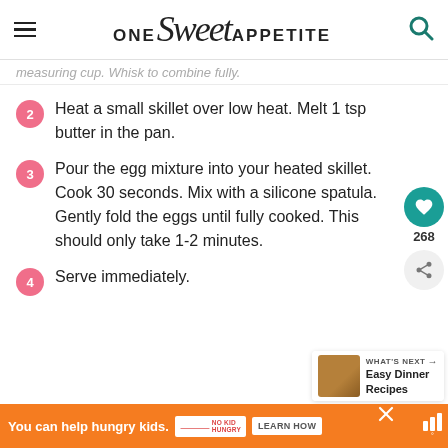ONE Sweet APPETITE
measuring cup. Whisk to combine fully.
2. Heat a small skillet over low heat. Melt 1 tsp butter in the pan.
3. Pour the egg mixture into your heated skillet. Cook 30 seconds. Mix with a silicone spatula. Gently fold the eggs until fully cooked. This should only take 1-2 minutes.
4. Serve immediately.
[Figure (photo): Photo of food dish, partially visible at bottom of page]
You can help hungry kids. NO KID HUNGRY LEARN HOW